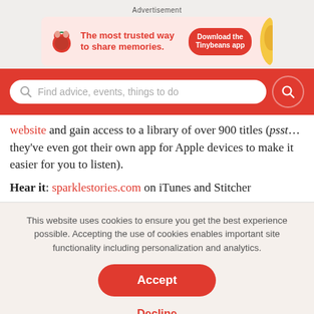Advertisement
[Figure (illustration): Tinybeans app advertisement banner with logo, text 'The most trusted way to share memories.' and 'Download the Tinybeans app' button]
[Figure (screenshot): Red search bar with placeholder text 'Find advice, events, things to do' and red search button]
website and gain access to a library of over 900 titles (psst...they've even got their own app for Apple devices to make it easier for you to listen).
Hear it: sparklestories.com on iTunes and Stitcher
This website uses cookies to ensure you get the best experience possible. Accepting the use of cookies enables important site functionality including personalization and analytics.
Accept
Decline